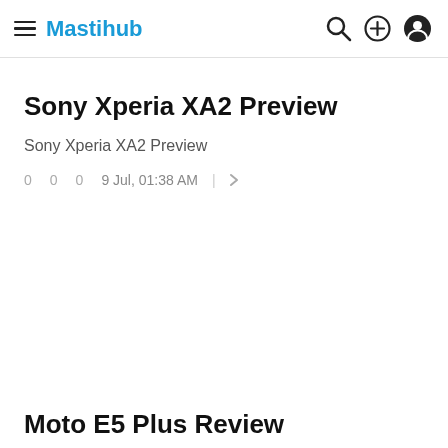Mastihub
Sony Xperia XA2 Preview
Sony Xperia XA2 Preview
0   0   0   9 Jul, 01:38 AM
Moto E5 Plus Review